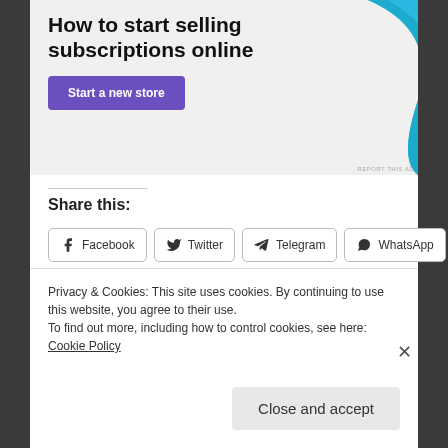[Figure (illustration): Advertisement banner with text 'How to start selling subscriptions online', a purple 'Start a new store' button, and a decorative blue curved shape on the right against a light gray background.]
Share this:
Facebook
Twitter
Telegram
WhatsApp
Email
Loading...
Privacy & Cookies: This site uses cookies. By continuing to use this website, you agree to their use.
To find out more, including how to control cookies, see here: Cookie Policy